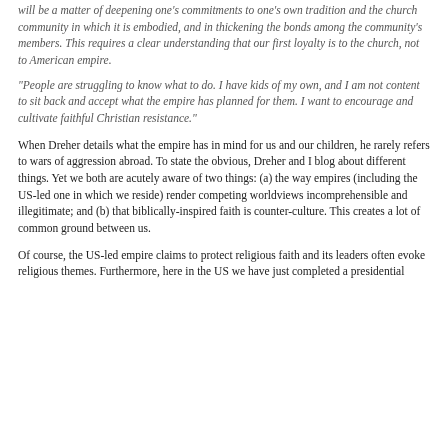will be a matter of deepening one's commitments to one's own tradition and the church community in which it is embodied, and in thickening the bonds among the community's members. This requires a clear understanding that our first loyalty is to the church, not to American empire.
“People are struggling to know what to do. I have kids of my own, and I am not content to sit back and accept what the empire has planned for them. I want to encourage and cultivate faithful Christian resistance.”
When Dreher details what the empire has in mind for us and our children, he rarely refers to wars of aggression abroad.  To state the obvious, Dreher and I blog about different things.  Yet we both are acutely aware of two things:  (a) the way empires (including the US-led one in which we reside) render competing worldviews incomprehensible and illegitimate; and (b) that biblically-inspired faith is counter-culture.  This creates a lot of common ground between us.
Of course, the US-led empire claims to protect religious faith and its leaders often evoke religious themes.  Furthermore, here in the US we have just completed a presidential